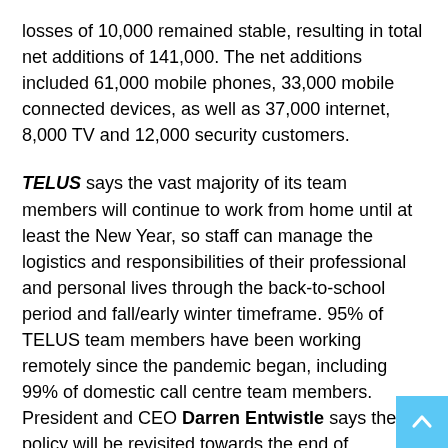losses of 10,000 remained stable, resulting in total net additions of 141,000. The net additions included 61,000 mobile phones, 33,000 mobile connected devices, as well as 37,000 internet, 8,000 TV and 12,000 security customers.
TELUS says the vast majority of its team members will continue to work from home until at least the New Year, so staff can manage the logistics and responsibilities of their professional and personal lives through the back-to-school period and fall/early winter timeframe. 95% of TELUS team members have been working remotely since the pandemic began, including 99% of domestic call centre team members. President and CEO Darren Entwistle says the policy will be revisited towards the end of December to determine what changes might be made to the company work location model at that time. The company also continues to offer virtual installations and repairs for customers who require a